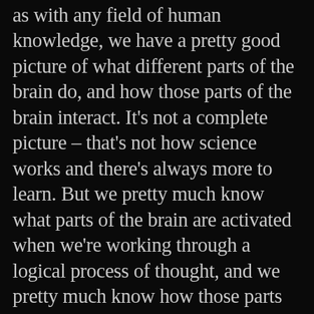as with any field of human knowledge, we have a pretty good picture of what different parts of the brain do, and how those parts of the brain interact. It's not a complete picture – that's not how science works and there's always more to learn. But we pretty much know what parts of the brain are activated when we're working through a logical process of thought, and we pretty much know how those parts of the brain interact with the bits responsible for emotion, fear, memory, and so on. The punch line is that they interact a lot. None of us are ever really capable of a making a purely rational decision. We operate within a complex structure of biases, mental shortcuts, flawed interpretations, and emotions…